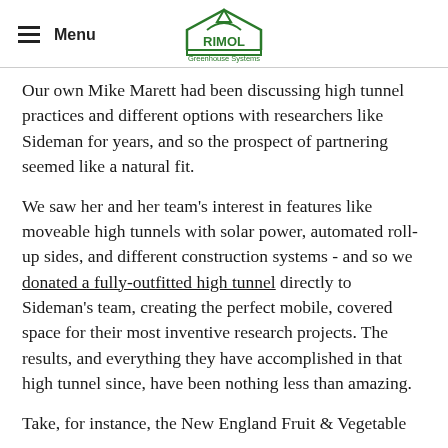Menu | RIMOL Greenhouse Systems
Our own Mike Marett had been discussing high tunnel practices and different options with researchers like Sideman for years, and so the prospect of partnering seemed like a natural fit.
We saw her and her team's interest in features like moveable high tunnels with solar power, automated roll-up sides, and different construction systems - and so we donated a fully-outfitted high tunnel directly to Sideman's team, creating the perfect mobile, covered space for their most inventive research projects. The results, and everything they have accomplished in that high tunnel since, have been nothing less than amazing.
Take, for instance, the New England Fruit & Vegetable